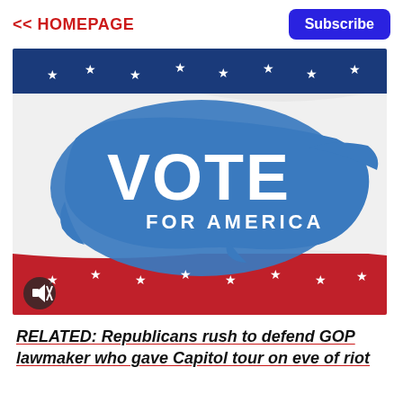<< HOMEPAGE
Subscribe
[Figure (photo): A waving American flag with a blue silhouette of the United States in the center, containing the text 'VOTE FOR AMERICA' in white letters. The flag has red and white stripes with white stars on a blue stripe at top and bottom. A mute/speaker icon button appears in the bottom-left corner.]
RELATED: Republicans rush to defend GOP lawmaker who gave Capitol tour on eve of riot